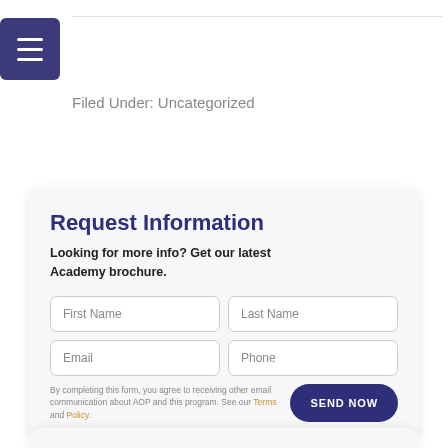[Figure (other): Hamburger menu button icon with three white horizontal lines on dark navy/purple background]
Filed Under: Uncategorized
Request Information
Looking for more info? Get our latest Academy brochure.
First Name
Last Name
Email
Phone
By completing this form, you agree to receiving other email communication about AOP and this program. See our Terms and Policy.